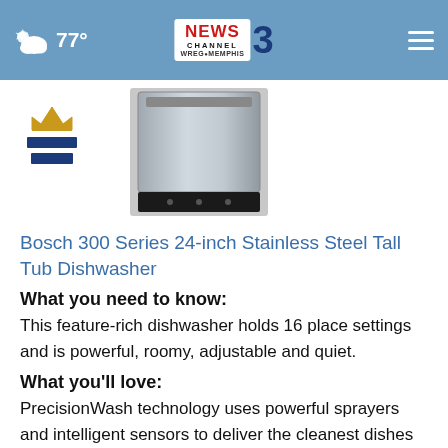77° — NEWS CHANNEL 3 WREG MEMPHIS
[Figure (photo): Bosch 300 Series stainless steel dishwasher product photo with crown and ranking bars icon to the left]
Bosch 300 Series 24-inch Stainless Steel Tall Tub Dishwasher
What you need to know:
This feature-rich dishwasher holds 16 place settings and is powerful, roomy, adjustable and quiet.
What you'll love:
PrecisionWash technology uses powerful sprayers and intelligent sensors to deliver the cleanest dishes